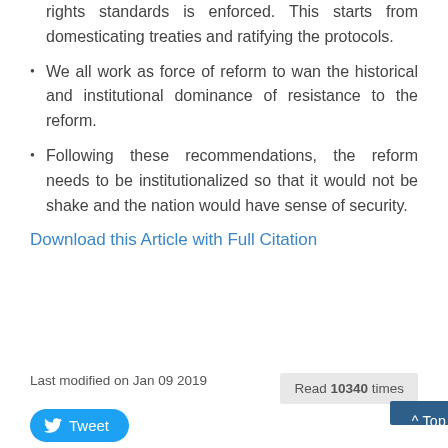Ensure good faith and compliance with human rights standards is enforced. This starts from domesticating treaties and ratifying the protocols.
We all work as force of reform to wan the historical and institutional dominance of resistance to the reform.
Following these recommendations, the reform needs to be institutionalized so that it would not be shake and the nation would have sense of security.
Download this Article with Full Citation
Last modified on Jan 09 2019
Read 10340 times
^ Top
Tweet